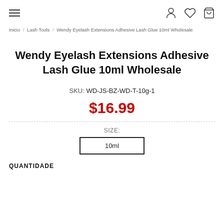Navigation header with hamburger menu and icons (user, wishlist, cart)
Inicio / Lash Tools / Wendy Eyelash Extensions Adhesive Lash Glue 10ml Wholesale
Wendy Eyelash Extensions Adhesive Lash Glue 10ml Wholesale
SKU: WD-JS-BZ-WD-T-10g-1
$16.99
SIZE:
10ml
QUANTIDADE